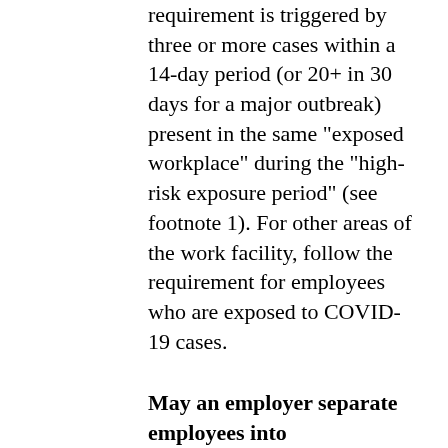requirement is triggered by three or more cases within a 14-day period (or 20+ in 30 days for a major outbreak) present in the same "exposed workplace" during the "high-risk exposure period" (see footnote 1). For other areas of the work facility, follow the requirement for employees who are exposed to COVID-19 cases.
May an employer separate employees into